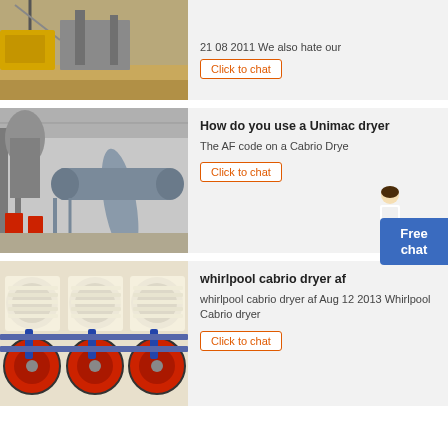[Figure (photo): Construction site with heavy machinery and concrete structures, sandy ground]
21 08 2011 We also hate our
Click to chat
[Figure (photo): Industrial rotary dryer or kiln machine inside a large factory/warehouse]
How do you use a Unimac dryer
The AF code on a Cabrio Drye
Click to chat
[Figure (photo): Industrial crushers or jaw crusher parts with red and white/cream colored drums and blue bolts]
whirlpool cabrio dryer af
whirlpool cabrio dryer af Aug 12 2013 Whirlpool Cabrio dryer
Click to chat